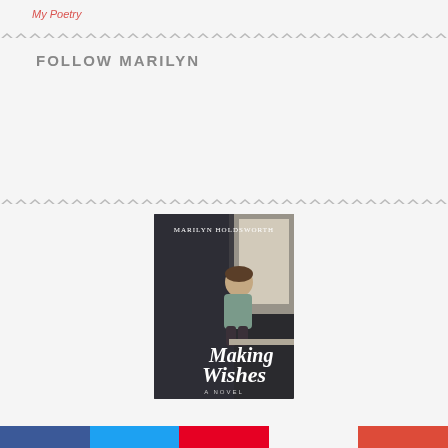My Poetry
FOLLOW MARILYN
[Figure (illustration): Book cover for 'Making Wishes' by Marilyn Holdsworth — shows a child sitting at a window, with script text reading 'Making Wishes' and subtitle 'A Novel']